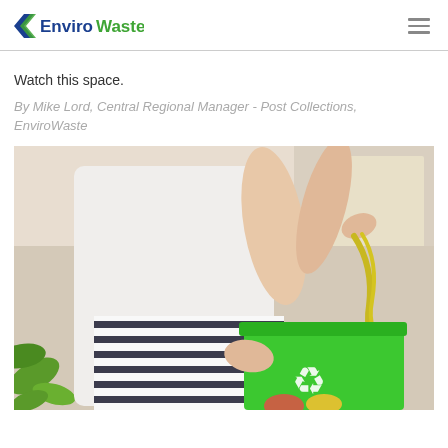EnviroWaste
Watch this space.
By Mike Lord, Central Regional Manager - Post Collections, EnviroWaste
[Figure (photo): A person dropping a banana peel into a green recycling bin with a white recycling symbol, with green plants and bright background visible.]